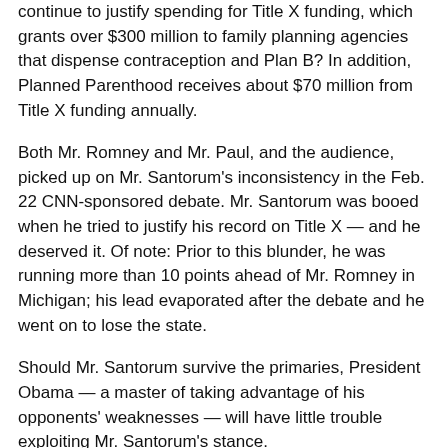continue to justify spending for Title X funding, which grants over $300 million to family planning agencies that dispense contraception and Plan B? In addition, Planned Parenthood receives about $70 million from Title X funding annually.
Both Mr. Romney and Mr. Paul, and the audience, picked up on Mr. Santorum's inconsistency in the Feb. 22 CNN-sponsored debate. Mr. Santorum was booed when he tried to justify his record on Title X — and he deserved it. Of note: Prior to this blunder, he was running more than 10 points ahead of Mr. Romney in Michigan; his lead evaporated after the debate and he went on to lose the state.
Should Mr. Santorum survive the primaries, President Obama — a master of taking advantage of his opponents' weaknesses — will have little trouble exploiting Mr. Santorum's stance.
Mr. Santorum has precedent to follow. In 2010, New Jersey Governor Chris Christie cut family planning funding citing budget concerns, noting: 'I don't believe that is a